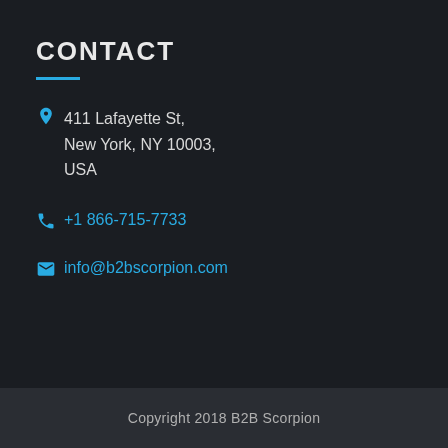CONTACT
411 Lafayette St, New York, NY 10003, USA
+1 866-715-7733
info@b2bscorpion.com
Copyright 2018 B2B Scorpion